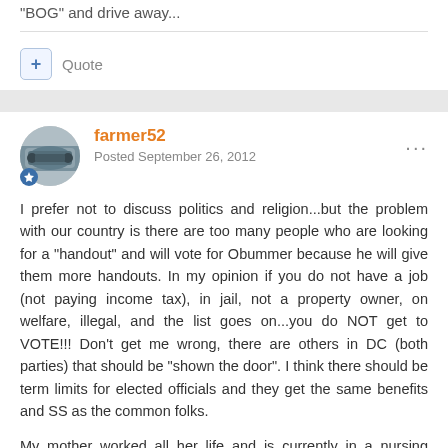"BOG" and drive away...
Quote
farmer52
Posted September 26, 2012
I prefer not to discuss politics and religion...but the problem with our country is there are too many people who are looking for a "handout" and will vote for Obummer because he will give them more handouts. In my opinion if you do not have a job (not paying income tax), in jail, not a property owner, on welfare, illegal, and the list goes on...you do NOT get to VOTE!!! Don't get me wrong, there are others in DC (both parties) that should be "shown the door". I think there should be term limits for elected officials and they get the same benefits and SS as the common folks.
My mother worked all her life and is currently in a nursing home. In order for her to get assistance, she has to sign over